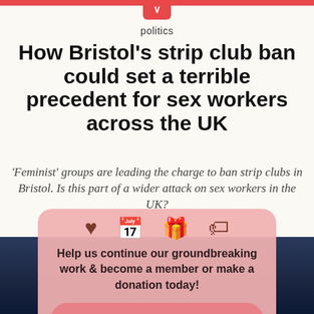politics
How Bristol’s strip club ban could set a terrible precedent for sex workers across the UK
‘Feminist’ groups are leading the charge to ban strip clubs in Bristol. Is this part of a wider attack on sex workers in the UK?
[Figure (screenshot): Overlay popup card with heart, calendar, gift, and tag icons, text 'Help us continue our groundbreaking work & become a member or make a donation today!' and a 'BECOME A MEMBER' button with a close X button]
[Figure (photo): Dark blue-toned photo background at bottom of page, partially visible]